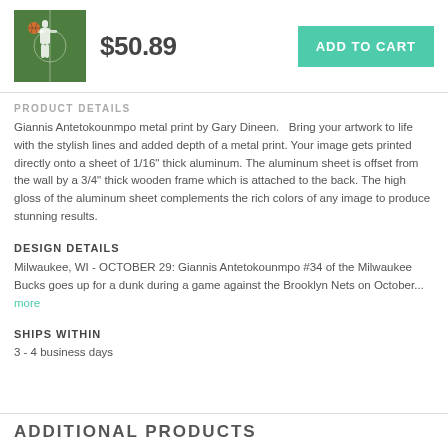[Figure (photo): Basketball player (Giannis Antetokounmpo) going up for a dunk, product thumbnail image]
$50.89
ADD TO CART
PRODUCT DETAILS
Giannis Antetokounmpo metal print by Gary Dineen.   Bring your artwork to life with the stylish lines and added depth of a metal print. Your image gets printed directly onto a sheet of 1/16" thick aluminum. The aluminum sheet is offset from the wall by a 3/4" thick wooden frame which is attached to the back. The high gloss of the aluminum sheet complements the rich colors of any image to produce stunning results.
DESIGN DETAILS
Milwaukee, WI - OCTOBER 29: Giannis Antetokounmpo #34 of the Milwaukee Bucks goes up for a dunk during a game against the Brooklyn Nets on October... more
SHIPS WITHIN
3 - 4 business days
ADDITIONAL PRODUCTS